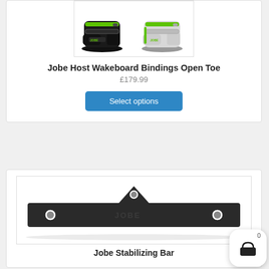[Figure (photo): Jobe Host Wakeboard Bindings Open Toe - two wakeboard bindings (black and white/grey with green accents) side by side]
Jobe Host Wakeboard Bindings Open Toe
£179.99
Select options
[Figure (photo): Jobe Stabilizing Bar - a long flat black bar with three mounting holes]
Jobe Stabilizing Bar